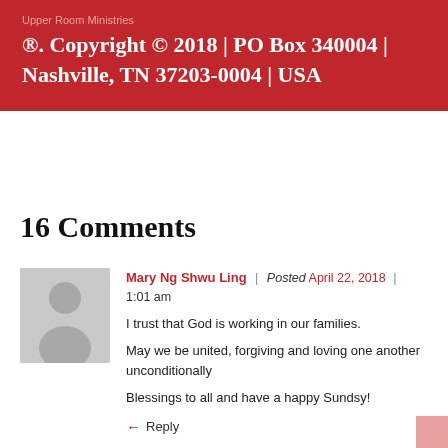Upper Room Ministries
®. Copyright © 2018 | PO Box 340004 | Nashville, TN 37203-0004 | USA
16 Comments
[Figure (illustration): Gray avatar silhouette placeholder image]
Mary Ng Shwu Ling | Posted April 22, 2018 | 1:01 am
I trust that God is working in our families.

May we be united, forgiving and loving one another unconditionally

Blessings to all and have a happy Sundsy!
Reply